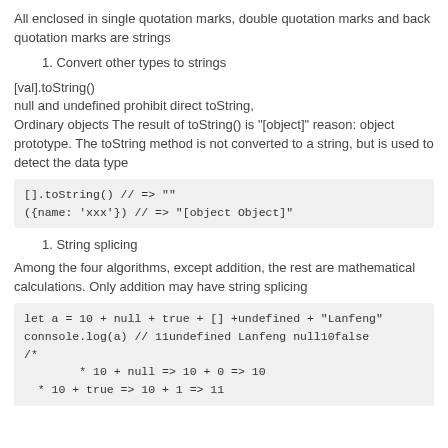All enclosed in single quotation marks, double quotation marks and back quotation marks are strings
1. Convert other types to strings
[val].toString()
null and undefined prohibit direct toString,
Ordinary objects The result of toString() is "[object]" reason: object prototype. The toString method is not converted to a string, but is used to detect the data type
[].toString() // => ""
({name: 'xxx'}) // => "[object Object]"
1. String splicing
Among the four algorithms, except addition, the rest are mathematical calculations. Only addition may have string splicing
let a = 10 + null + true + [] +undefined + "Lanfeng"
connsole.log(a) // 11undefined Lanfeng null10false
/*
        * 10 + null => 10 + 0 => 10
  * 10 + true => 10 + 1 => 11